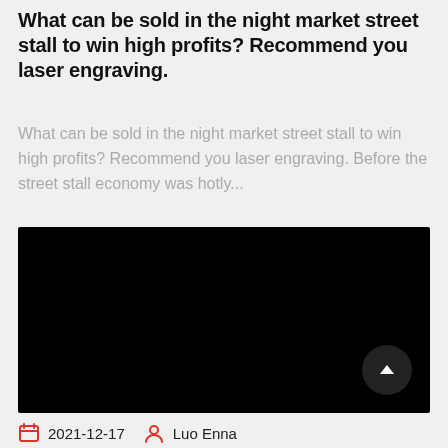What can be sold in the night market street stall to win high profits? Recommend you laser engraving.
What can be sold in the night market street stall to win high profits? Recommend you laser engraving. Before the street stall economy was hotly...
[Figure (photo): A large black rectangle representing a photo or video thumbnail area]
2021-12-17   Luo Enna